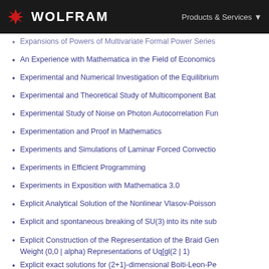WOLFRAM | Products & Services
Expansions of Powers of Multivariate Formal Power Series
An Experience with Mathematica in the Field of Economics
Experimental and Numerical Investigation of the Equilibrium
Experimental and Theoretical Study of Multicomponent Bat
Experimental Study of Noise on Photon Autocorrelation Fun
Experimentation and Proof in Mathematics
Experiments and Simulations of Laminar Forced Convectio
Experiments in Efficient Programming
Experiments in Exposition with Mathematica 3.0
Explicit Analytical Solution of the Nonlinear Vlasov-Poisson
Explicit and spontaneous breaking of SU(3) into its nite sub
Explicit Construction of the Representation of the Braid Gen Weight (0,0 | alpha) Representations of Uq[gl(2 | 1)
Explicit exact solutions for (2+1)-dimensional Boiti-Leon-Pe
Explicit Expressions for Stress Field of a Circular Dislocatio
An Exploratory Study to Detect Ménière's Disease in Conve
Exploring Complexity in Some Simple Nonlinear Chemical R
Exploring Conic Sections with a Computer Algebra System
Exploring Data Structures Using Probability Plots and...